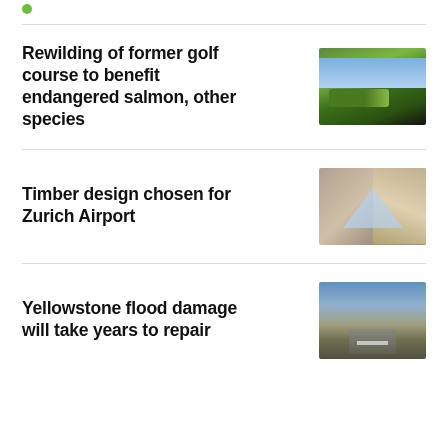Rewilding of former golf course to benefit endangered salmon, other species
[Figure (photo): Aerial view of a green golf course landscape with hills]
Timber design chosen for Zurich Airport
[Figure (photo): Interior geometric timber structure looking upward at triangular ceiling]
Yellowstone flood damage will take years to repair
[Figure (photo): Damaged road in a valley with debris, Yellowstone flood aftermath]